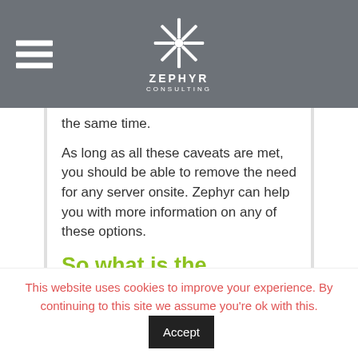Zephyr Consulting
the same time.
As long as all these caveats are met, you should be able to remove the need for any server onsite. Zephyr can help you with more information on any of these options.
So what is the Answer?
This website uses cookies to improve your experience. By continuing to this site we assume you're ok with this.
Read More